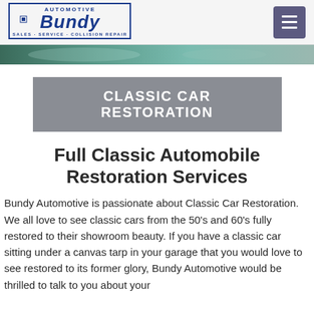[Figure (logo): Bundy Automotive logo — 'AUTOMOTIVE' above 'Bundy' in large blue stylized text, 'SALES · SERVICE · COLLISION REPAIR' below, rectangular border]
[Figure (photo): Hero image strip showing classic cars in muted teal/green tones]
CLASSIC CAR RESTORATION
Full Classic Automobile Restoration Services
Bundy Automotive is passionate about Classic Car Restoration. We all love to see classic cars from the 50's and 60's fully restored to their showroom beauty. If you have a classic car sitting under a canvas tarp in your garage that you would love to see restored to its former glory, Bundy Automotive would be thrilled to talk to you about your